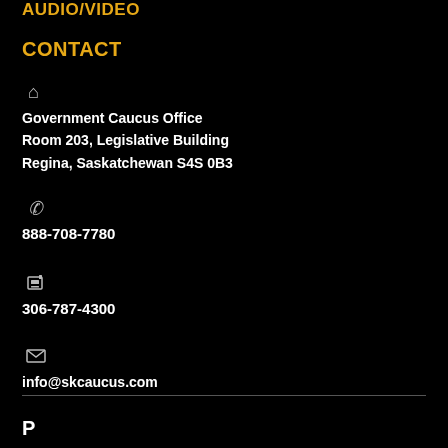AUDIO/VIDEO
CONTACT
Government Caucus Office
Room 203, Legislative Building
Regina, Saskatchewan S4S 0B3
888-708-7780
306-787-4300
info@skcaucus.com